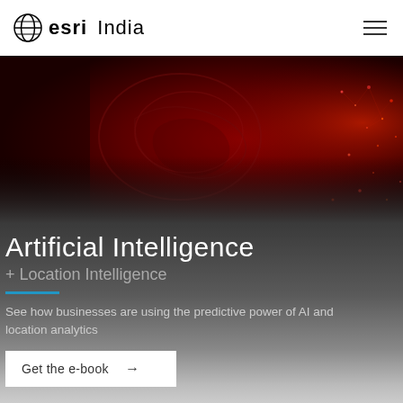esri India
[Figure (photo): Dark red/maroon background with glowing neural network or brain imagery suggesting AI and data — hero banner image]
Artificial Intelligence
+ Location Intelligence
See how businesses are using the predictive power of AI and location analytics
Get the e-book →